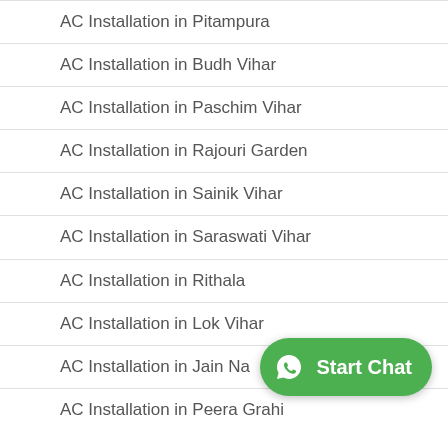AC Installation in Pitampura
AC Installation in Budh Vihar
AC Installation in Paschim Vihar
AC Installation in Rajouri Garden
AC Installation in Sainik Vihar
AC Installation in Saraswati Vihar
AC Installation in Rithala
AC Installation in Lok Vihar
AC Installation in Jain Nagar
AC Installation in Peera Grahi
[Figure (other): WhatsApp Start Chat button (green rounded pill with WhatsApp icon)]